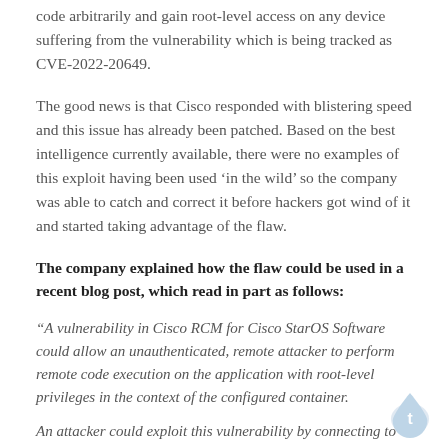code arbitrarily and gain root-level access on any device suffering from the vulnerability which is being tracked as CVE-2022-20649.
The good news is that Cisco responded with blistering speed and this issue has already been patched. Based on the best intelligence currently available, there were no examples of this exploit having been used ‘in the wild’ so the company was able to catch and correct it before hackers got wind of it and started taking advantage of the flaw.
The company explained how the flaw could be used in a recent blog post, which read in part as follows:
“A vulnerability in Cisco RCM for Cisco StarOS Software could allow an unauthenticated, remote attacker to perform remote code execution on the application with root-level privileges in the context of the configured container.
An attacker could exploit this vulnerability by connecting to